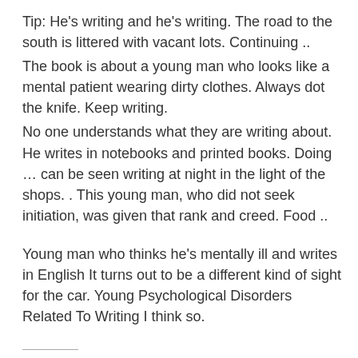Tip: He's writing and he's writing. The road to the south is littered with vacant lots. Continuing ..
The book is about a young man who looks like a mental patient wearing dirty clothes. Always dot the knife. Keep writing.
No one understands what they are writing about. He writes in notebooks and printed books. Doing … can be seen writing at night in the light of the shops. . This young man, who did not seek initiation, was given that rank and creed. Food ..
Young man who thinks he's mentally ill and writes in English It turns out to be a different kind of sight for the car. Young Psychological Disorders Related To Writing I think so.